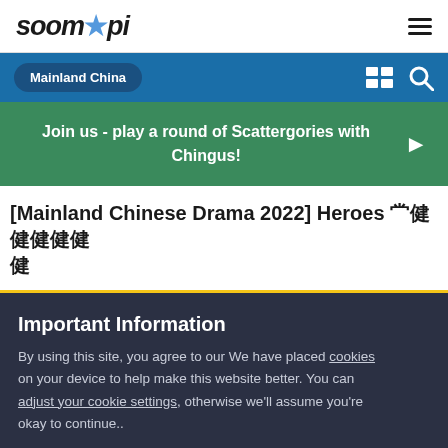soompi
Mainland China
Join us - play a round of Scattergories with Chingus!
[Mainland Chinese Drama 2022] Heroes 英雄[]
Important Information
By using this site, you agree to our We have placed cookies on your device to help make this website better. You can adjust your cookie settings, otherwise we'll assume you're okay to continue..
✓  I accept